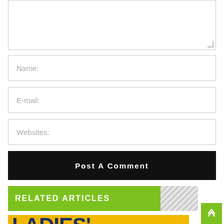[Figure (other): Text area input box (partially visible at top of page)]
Name:
E-mail:
Websites:
Post A Comment
RELATED ARTICLES
[Figure (photo): Ladies' Rugby article thumbnail image with large bold text on yellow/gold background showing 'LADIES' RUGBY']